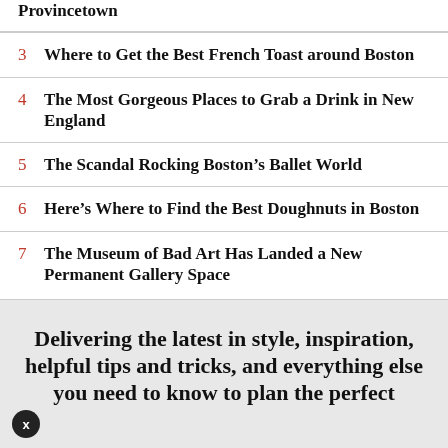Provincetown
3  Where to Get the Best French Toast around Boston
4  The Most Gorgeous Places to Grab a Drink in New England
5  The Scandal Rocking Boston’s Ballet World
6  Here’s Where to Find the Best Doughnuts in Boston
7  The Museum of Bad Art Has Landed a New Permanent Gallery Space
Delivering the latest in style, inspiration, helpful tips and tricks, and everything else you need to know to plan the perfect